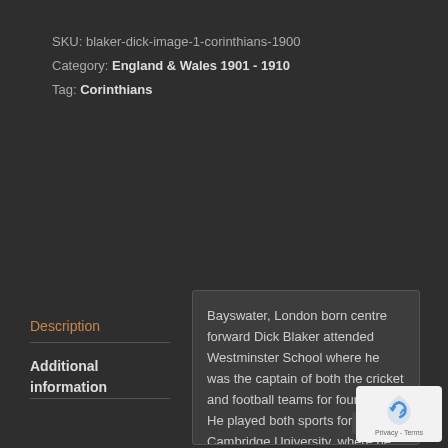SKU: blaker-dick-image-1-corinthians-1900
Category: England & Wales 1901 - 1910
Tag: Corinthians
Description
Additional information
Bayswater, London born centre forward Dick Blaker attended Westminster School where he was the captain of both the cricket and football teams for four years. He played both sports for Cambridge University, where he attended Jesus College between 1898 and 1902, gaining Blues in both sports and captaining the University football team in the 1901 Varsity match. As a footballer, Blaker captained both his school team and Cambrid